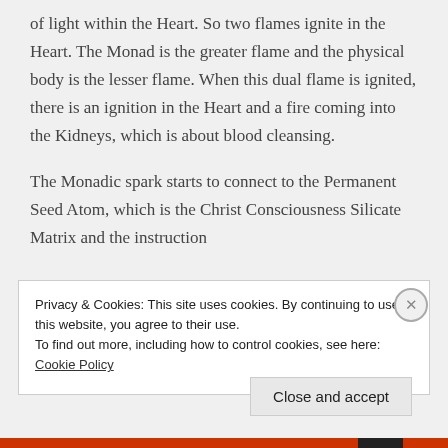of light within the Heart. So two flames ignite in the Heart. The Monad is the greater flame and the physical body is the lesser flame. When this dual flame is ignited, there is an ignition in the Heart and a fire coming into the Kidneys, which is about blood cleansing.

The Monadic spark starts to connect to the Permanent Seed Atom, which is the Christ Consciousness Silicate Matrix and the instruction
Privacy & Cookies: This site uses cookies. By continuing to use this website, you agree to their use.
To find out more, including how to control cookies, see here: Cookie Policy
Close and accept